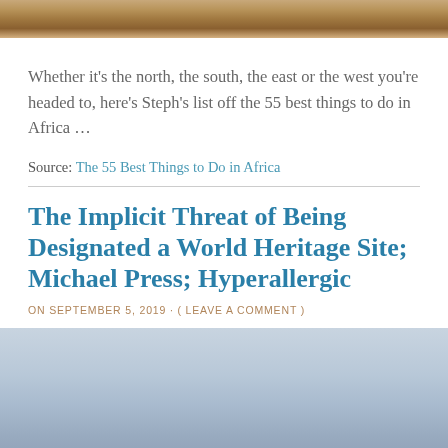[Figure (photo): Top portion of a photo showing sandy/rocky terrain, cropped at the top of the page]
Whether it's the north, the south, the east or the west you're headed to, here's Steph's list off the 55 best things to do in Africa ...
Source: The 55 Best Things to Do in Africa
The Implicit Threat of Being Designated a World Heritage Site; Michael Press; Hyperallergic
ON SEPTEMBER 5, 2019 · ( LEAVE A COMMENT )
[Figure (photo): Sky photo with light blue gradient, possibly a landscape with horizon]